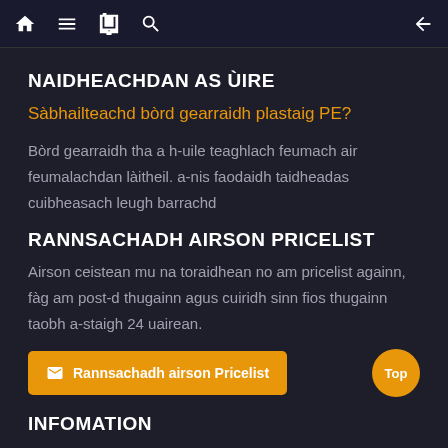Navigation bar with home, menu, book, search, and back icons
NAIDHEACHDAN AS ÙIRE
Sàbhailteachd bòrd gearraidh plastaig PE?
Bòrd gearraidh tha a h-uile teaghlach feumach air feumalachdan làitheil. a-nis faodaidh taidheadas cuibheasach leugh barrachd
RANNSACHADH AIRSON PRICELIST
Airson ceistean mu na toraidhean no am pricelist againn, fàg am post-d thugainn agus cuiridh sinn fios thugainn taobh a-staigh 24 uairean.
Rannsachadh airson Pricelist
INFOMATION